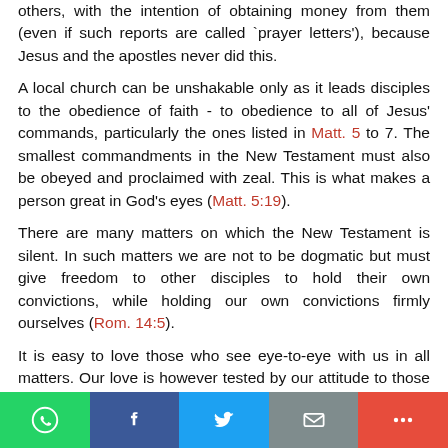others, with the intention of obtaining money from them (even if such reports are called 'prayer letters'), because Jesus and the apostles never did this.
A local church can be unshakable only as it leads disciples to the obedience of faith - to obedience to all of Jesus' commands, particularly the ones listed in Matt. 5 to 7. The smallest commandments in the New Testament must also be obeyed and proclaimed with zeal. This is what makes a person great in God's eyes (Matt. 5:19).
There are many matters on which the New Testament is silent. In such matters we are not to be dogmatic but must give freedom to other disciples to hold their own convictions, while holding our own convictions firmly ourselves (Rom. 14:5).
It is easy to love those who see eye-to-eye with us in all matters. Our love is however tested by our attitude to those who disagree with us. God has not intended that –
[Figure (other): Social sharing bar with WhatsApp, Facebook, Twitter, Email, and More buttons]